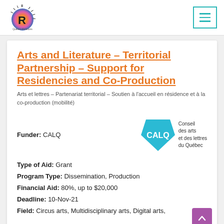Quebec Relations — navigation bar with logo and menu
Arts and Literature – Territorial Partnership – Support for Residencies and Co-Production
Arts et lettres – Partenariat territorial – Soutien à l'accueil en résidence et à la co-production (mobilité)
Funder: CALQ
[Figure (logo): CALQ logo — blue pentagon shape with white text 'CALQ' and 'Conseil des arts et des lettres du Québec' beside it]
Type of Aid: Grant
Program Type: Dissemination, Production
Financial Aid: 80%, up to $20,000
Deadline: 10-Nov-21
Field: Circus arts, Multidisciplinary arts, Digital arts,